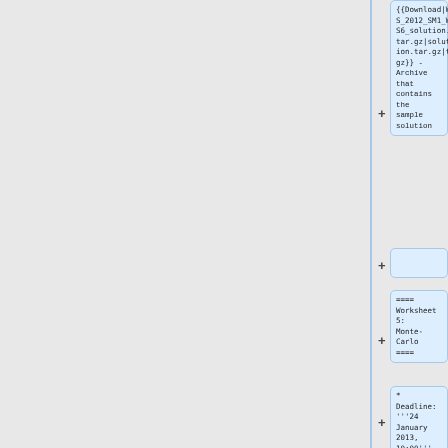{{Download|WS_2012_SM1_WS6_solution.tar.gz|solution.tar.gz|tgz}} - Archive that contains the sample solution
==== Worksheet 5: Monte-Carlo ====
* Deadline: '''24 January 2013, 10:00'''